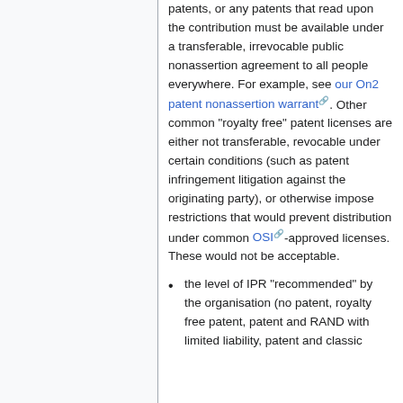patents, or any patents that read upon the contribution must be available under a transferable, irrevocable public nonassertion agreement to all people everywhere. For example, see our On2 patent nonassertion warrant. Other common "royalty free" patent licenses are either not transferable, revocable under certain conditions (such as patent infringement litigation against the originating party), or otherwise impose restrictions that would prevent distribution under common OSI-approved licenses. These would not be acceptable.
the level of IPR "recommended" by the organisation (no patent, royalty free patent, patent and RAND with limited liability, patent and classic...